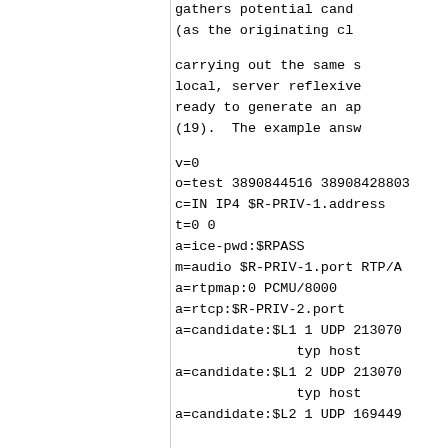gathers potential cand
(as the originating cl
carrying out the same s
local, server reflexive
ready to generate an ap
(19).  The example answ
v=0
o=test 3890844516 38908428803
c=IN IP4 $R-PRIV-1.address
t=0 0
a=ice-pwd:$RPASS
m=audio $R-PRIV-1.port RTP/A
a=rtpmap:0 PCMU/8000
a=rtcp:$R-PRIV-2.port
a=candidate:$L1 1 UDP 213070
               typ host
a=candidate:$L1 2 UDP 213070
               typ host
a=candidate:$L2 1 UDP 169449